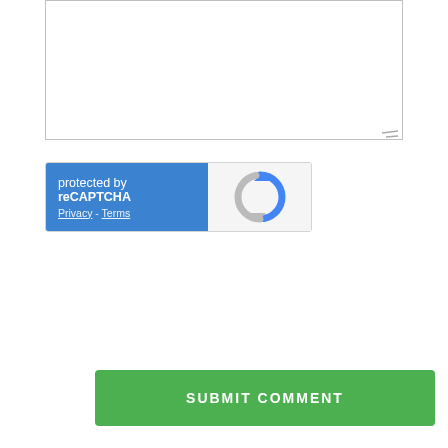[Figure (screenshot): Text area input box (form field) with resize handle at bottom-right corner]
[Figure (screenshot): reCAPTCHA widget: blue left panel with text 'protected by reCAPTCHA' and Privacy/Terms links; grey right panel with reCAPTCHA logo]
[Figure (screenshot): Green SUBMIT COMMENT button]
This website stores cookies on your computer. These cookies are used to collect information about how you interact with our website and allow us to remember you. We use this information in order to improve and customize your browsing experience and for analytics and metrics about our visitors both on this website and other media. To find out more about the cookies we use, see our Privacy Policy.
If you decline, your information won't be tracked when you visit this website. A single cookie will be used in your browser to remember your preference not to be tracked.
[Figure (screenshot): Accept button (green filled) and Decline button (white with green border), and a green circular chat bubble icon at bottom right]